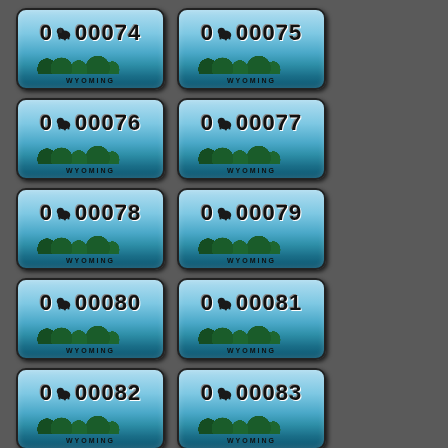[Figure (photo): Grid of Wyoming license plates numbered 0-00074 through 0-00089, arranged in two columns on a dark gray background. Each plate shows a scenic Wyoming landscape with trees/mountains, the plate number in large bold font, and 'WYOMING' at the bottom.]